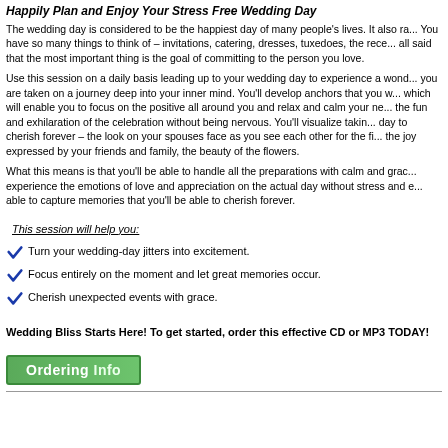Happily Plan and Enjoy Your Stress Free Wedding Day
The wedding day is considered to be the happiest day of many people's lives. It also ra... You have so many things to think of – invitations, catering, dresses, tuxedoes, the rece... all said that the most important thing is the goal of committing to the person you love.
Use this session on a daily basis leading up to your wedding day to experience a wond... you are taken on a journey deep into your inner mind. You'll develop anchors that you w... which will enable you to focus on the positive all around you and relax and calm your ne... the fun and exhilaration of the celebration without being nervous. You'll visualize takin... day to cherish forever – the look on your spouses face as you see each other for the fi... the joy expressed by your friends and family, the beauty of the flowers.
What this means is that you'll be able to handle all the preparations with calm and grac... experience the emotions of love and appreciation on the actual day without stress and e... able to capture memories that you'll be able to cherish forever.
This session will help you:
Turn your wedding-day jitters into excitement.
Focus entirely on the moment and let great memories occur.
Cherish unexpected events with grace.
Wedding Bliss Starts Here! To get started, order this effective CD or MP3 TODAY!
[Figure (other): Ordering Info button — green gradient button with white bold text reading 'Ordering Info']